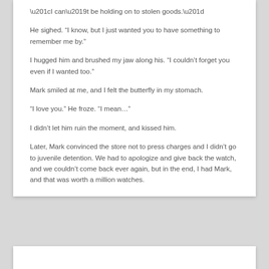“I can’t be holding on to stolen goods.”
He sighed. “I know, but I just wanted you to have something to remember me by.”
I hugged him and brushed my jaw along his. “I couldn’t forget you even if I wanted too.”
Mark smiled at me, and I felt the butterfly in my stomach.
“I love you.” He froze. “I mean…”
I didn’t let him ruin the moment, and kissed him.
Later, Mark convinced the store not to press charges and I didn’t go to juvenile detention. We had to apologize and give back the watch, and we couldn’t come back ever again, but in the end, I had Mark, and that was worth a million watches.